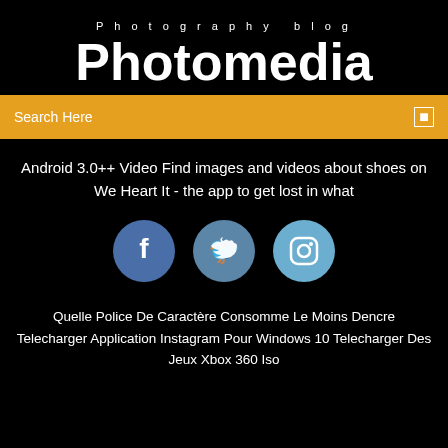Photography blog
Photomedia
Search Here
Android 3.0++ Video Find images and videos about shoes on We Heart It - the app to get lost in what
[Figure (infographic): Three social media icon circles: Facebook (f), Twitter (bird), Instagram (camera)]
Quelle Police De Caractère Consomme Le Moins Dencre Telecharger Application Instagram Pour Windows 10 Telecharger Des Jeux Xbox 360 Iso